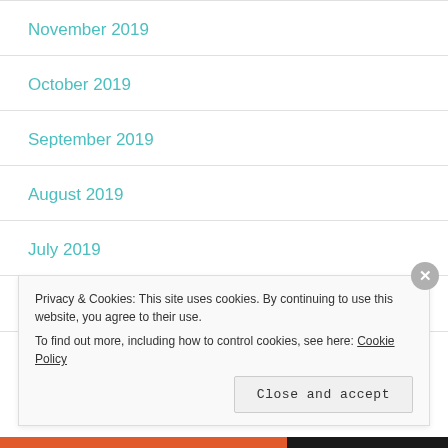November 2019
October 2019
September 2019
August 2019
July 2019
June 2019
Privacy & Cookies: This site uses cookies. By continuing to use this website, you agree to their use. To find out more, including how to control cookies, see here: Cookie Policy
Close and accept